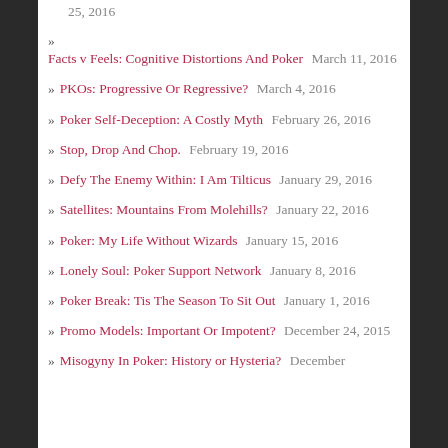25, 2016
Facts v Feels: Cognitive Distortions And Poker  March 11, 2016
PKOs: Progressive Or Regressive?  March 4, 2016
Poker Self-Deception: A Costly Myth  February 26, 2016
Stop, Drop And Chop.  February 19, 2016
Defy The Enemy Within: I Am Tilticus  January 29, 2016
Satellites: Mountains From Molehills?  January 22, 2016
Poker: My Life Without Wizards  January 15, 2016
Lonely Soul: Poker Support Network  January 8, 2016
Poker Break: Tis The Season To Sit Out  January 1, 2016
Promo Models: Important Or Impotent?  December 24, 2015
Misogyny In Poker: History or Hysteria?  December